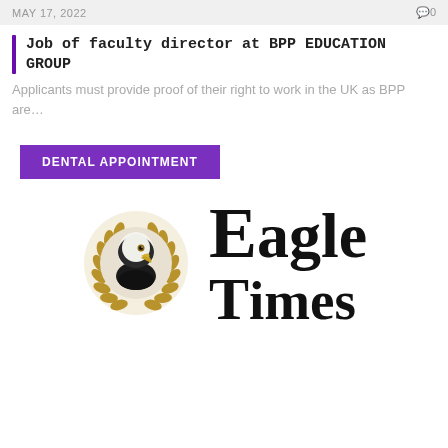MAY 17, 2022   0
Job of faculty director at BPP EDUCATION GROUP
Applicants must provide proof of their right to work in the UK as BPP are…
DENTAL APPOINTMENT
[Figure (logo): Eagle Times logo featuring a bald eagle head in a golden laurel wreath circle on the left, and the text 'Eagle Times' in large serif font on the right]